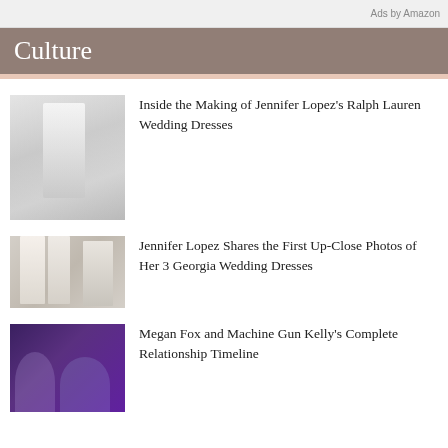Ads by Amazon
Culture
[Figure (photo): Black and white photo of a bride in a long wedding dress]
Inside the Making of Jennifer Lopez's Ralph Lauren Wedding Dresses
[Figure (photo): Photo of wedding dresses hanging, with a woman in white]
Jennifer Lopez Shares the First Up-Close Photos of Her 3 Georgia Wedding Dresses
[Figure (photo): Photo of Megan Fox and Machine Gun Kelly at an event with purple lights]
Megan Fox and Machine Gun Kelly's Complete Relationship Timeline